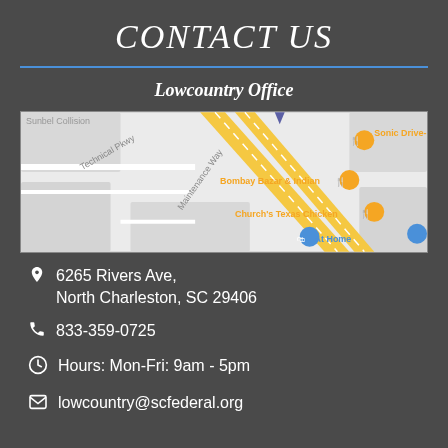CONTACT US
Lowcountry Office
[Figure (map): Google Maps screenshot showing the area around 6265 Rivers Ave, North Charleston, SC 29406. Visible landmarks include Sonic Drive-In, Bombay Bazar & Indian, Church's Texas Chicken, At Home, and street labels for Technical Pkwy and Maintenance Way.]
6265 Rivers Ave, North Charleston, SC 29406
833-359-0725
Hours: Mon-Fri: 9am - 5pm
lowcountry@scfederal.org